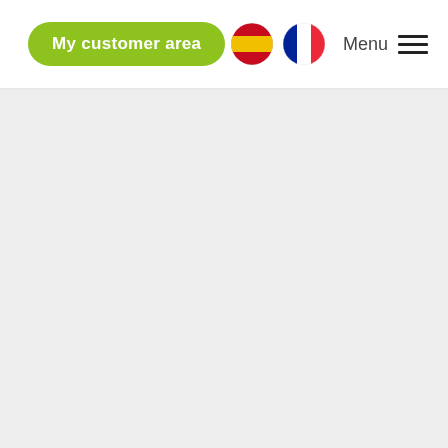My customer area  Menu
[Figure (screenshot): Navigation header bar with green rounded button labeled 'My customer area', Spanish and French flag icons, and a hamburger menu with 'Menu' text. Below is a blank light gray content area.]